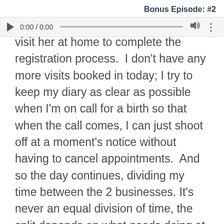Bonus Episode: #2
[Figure (screenshot): Audio player bar showing play button, time 0:00 / 0:00, progress bar, volume icon, and more options icon]
visit her at home to complete the registration process.  I don't have any more visits booked in today; I try to keep my diary as clear as possible when I'm on call for a birth so that when the call comes, I can just shoot off at a moment's notice without having to cancel appointments.  And so the day continues, dividing my time between the 2 businesses. It's never an equal division of time, the split depends on what needs doing at any given time.  In between the more mundane admin